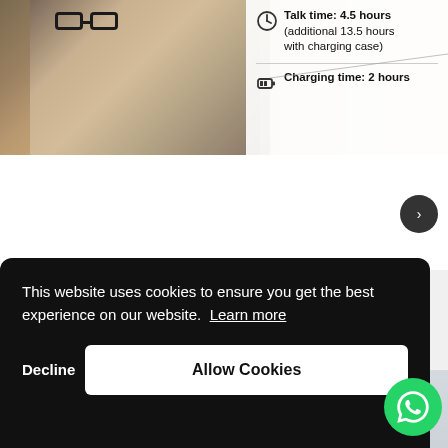[Figure (photo): Man with glasses smiling, looking at a laptop, with product spec callouts showing Talk time: 4.5 hours (additional 13.5 hours with charging case) and Charging time: 2 hours]
[Figure (photo): Woman wearing a cap and wireless earbuds, looking upward, with text overlay 'Wing tips for stable and secure fit']
This website uses cookies to ensure you get the best experience on our website. Learn more
Decline
Allow Cookies